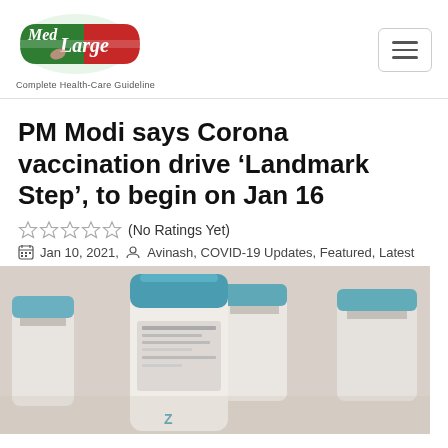[Figure (logo): MedLarge logo with green and red capsule shape and cursive text, tagline: Complete Health-Care Guideline]
PM Modi says Corona vaccination drive ‘Landmark Step’, to begin on Jan 16
☆☆☆☆☆ (No Ratings Yet)
Jan 10, 2021, Avinash, COVID-19 Updates, Featured, Latest
[Figure (photo): Close-up photo of multiple vaccine vials with blue caps on a light background]